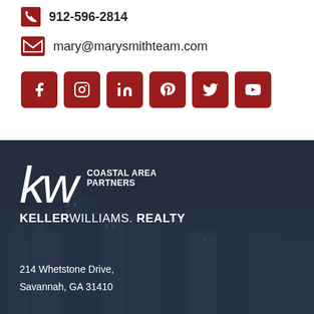912-596-2814
mary@marysmithteam.com
[Figure (other): Row of 6 red social media icons: Facebook, Instagram, LinkedIn, Pinterest, Twitter, YouTube]
[Figure (logo): KW Coastal Area Partners - Keller Williams Realty logo in white on dark background]
214 Whetstone Drive,
Savannah, GA 31410